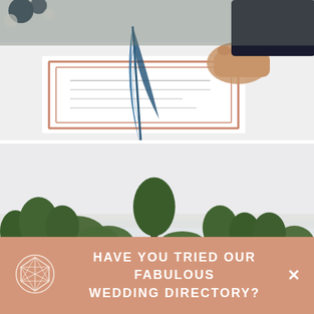[Figure (photo): Close-up of a hand holding a blue feather quill pen over a framed wedding document/certificate on a white table, with dark floral elements visible at top]
[Figure (photo): Outdoor landscape photo showing green trees against an overcast grey sky, taken at a wide angle suggesting a park or countryside venue]
HAVE YOU TRIED OUR FABULOUS WEDDING DIRECTORY?